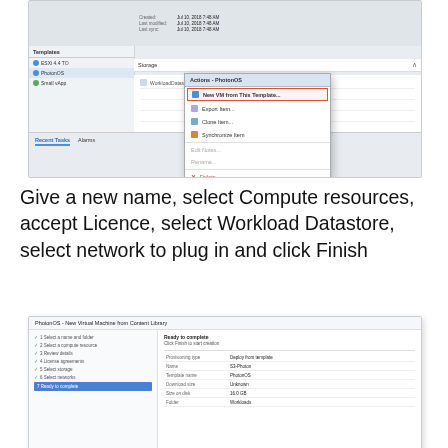[Figure (screenshot): vSphere interface showing Templates panel with PhotonOS selected and a right-click context menu open. Menu items include: Actions - PhotonOS (header), New VM from This Template... (highlighted with red border), Export Item..., Clone Item..., Synchronize Item, Edit Notes..., Rename..., Delete. The right panel shows Storage section with WorkloadDatastore, Normal, vsan, 10.37 TS, 8.94 TS. Bottom shows Recent Tasks and Alarms tabs.]
Give a new name, select Compute resources, accept Licence, select Workload Datastore, select network to plug in and click Finish
[Figure (screenshot): PhotonOS - New Virtual Machine from Content Library wizard at step 7 Ready to complete. Left panel shows checked steps: 1 Select a name and folder, 2 Select a compute resource, 3 Review details, 4 License agreements, 5 Select storage, 6 Select networks, and active step 7 Ready to complete. Right panel shows: Ready to complete / Click Finish to start creation. Table rows: Provisioning type: Deploy from template, Name: S3-Photon, Template name: PhotonOS, Download size: Unknown, Size on disk: 16.0 GB, Folder: Workloads]